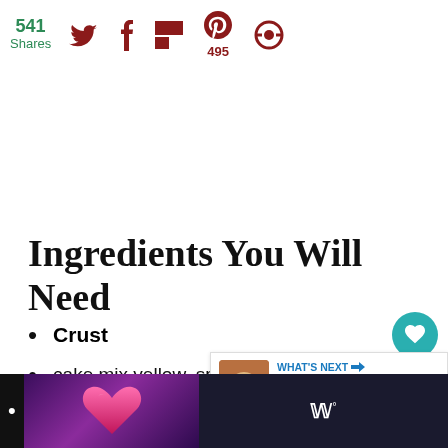541 Shares | Social share icons (Twitter, Facebook, Flipboard, Pinterest 495, other)
Ingredients You Will Need
Crust
cake mix yellow, spice or white flavored
egg
[Figure (screenshot): Bottom bar with purple gradient heart image and Wooly logo on dark background]
[Figure (infographic): WHAT'S NEXT panel with food image thumbnail and text 'Homemade White...']